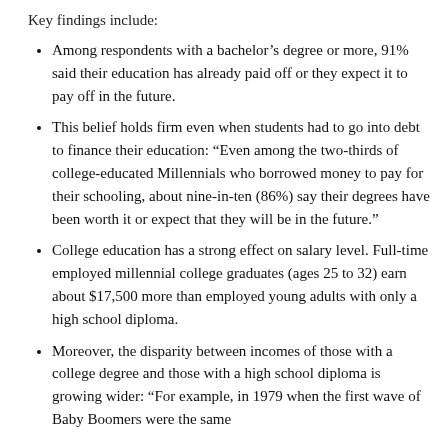Key findings include:
Among respondents with a bachelor’s degree or more, 91% said their education has already paid off or they expect it to pay off in the future.
This belief holds firm even when students had to go into debt to finance their education: “Even among the two-thirds of college-educated Millennials who borrowed money to pay for their schooling, about nine-in-ten (86%) say their degrees have been worth it or expect that they will be in the future.”
College education has a strong effect on salary level. Full-time employed millennial college graduates (ages 25 to 32) earn about $17,500 more than employed young adults with only a high school diploma.
Moreover, the disparity between incomes of those with a college degree and those with a high school diploma is growing wider: “For example, in 1979 when the first wave of Baby Boomers were the same